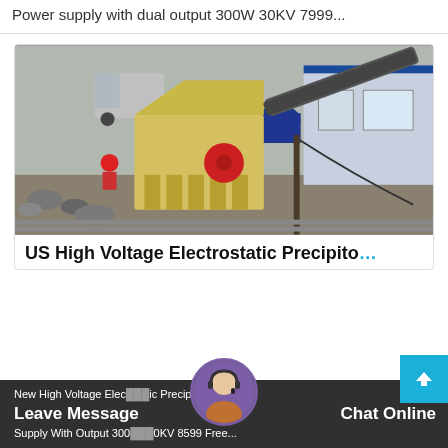Power supply with dual output 300W 30KV 7999...
[Figure (photo): Industrial impact crusher machine on a worksite, yellow body with red disc, conveyor belt visible, building in background, workers nearby]
US High Voltage Electrostatic Precipito...
New High Voltage Electrostatic Precipitator Power Supply With Output 300W 30KV 8599 Free...
Leave Message   Chat Online